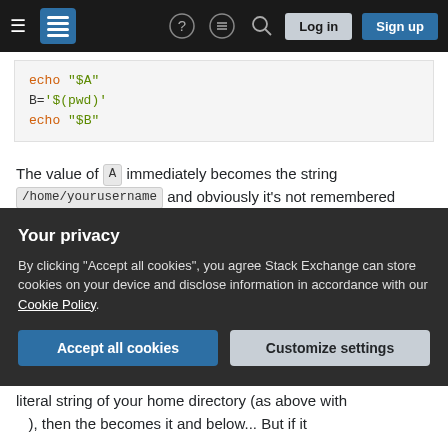Stack Exchange navigation bar with Log in and Sign up buttons
[Figure (screenshot): Code block showing shell script: echo "$A", B='$(pwd)', echo "$B" with syntax highlighting]
The value of A immediately becomes the string /home/yourusername and obviously it's not remembered where this string comes from, it stays the same even if you change directory. The value of B , however, becomes the literal string $(pwd) without getting interpreted.
Now, in the value of PS1, something special
Your privacy
By clicking "Accept all cookies", you agree Stack Exchange can store cookies on your device and disclose information in accordance with our Cookie Policy.
Accept all cookies  Customize settings
literal string of your home directory (as above with ... ) then the becomes it and below ... But if it